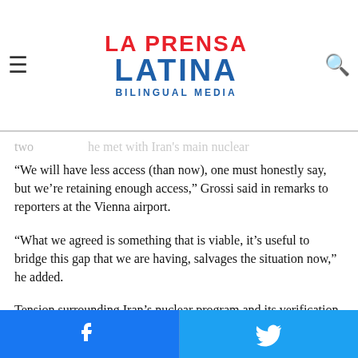La Prensa Latina Bilingual Media
“We will have less access (than now), one must honestly say, but we’re retaining enough access,” Grossi said in remarks to reporters at the Vienna airport.
“What we agreed is something that is viable, it’s useful to bridge this gap that we are having, salvages the situation now,” he added.
Tension surrounding Iran’s nuclear program and its verification by the IAEA had ratcheted up after Iran passed a law that is to enter into effect on Tuesday and which stipulates that Tehran will suspend the so-called “Additional Protocol” of the nuclear non-proliferation treaty if the United States does not lift its
Facebook share | Twitter share